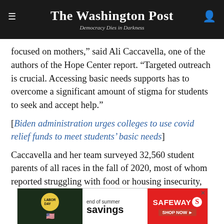The Washington Post — Democracy Dies in Darkness
focused on mothers,” said Ali Caccavella, one of the authors of the Hope Center report. “Targeted outreach is crucial. Accessing basic needs supports has to overcome a significant amount of stigma for students to seek and accept help.”
[Biden administration urges colleges to use covid relief funds to meet students’ basic needs]
Caccavella and her team surveyed 32,560 student parents of all races in the fall of 2020, most of whom reported struggling with food or housing insecurity, but
[Figure (other): Safeway 'end of summer savings' advertisement banner at the bottom of the page]